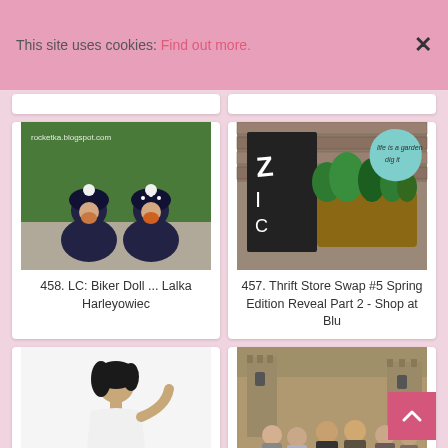This site uses cookies: Find out more.
[Figure (photo): Two crocheted gnome dolls in dark outfits sitting on a surface, with text watermark rocketka.blogspot.com]
458. LC: Biker Doll ... Lalka Harleyowiec
[Figure (photo): Herb garden in a hanging basket with a wooden sign and a turquoise garden sign]
457. Thrift Store Swap #5 Spring Edition Reveal Part 2 - Shop at Blu
[Figure (photo): Woman in white outfit posing dynamically on white background]
[Figure (photo): Group of people posing formally in front of a castle, appears to be a TV show cast photo]